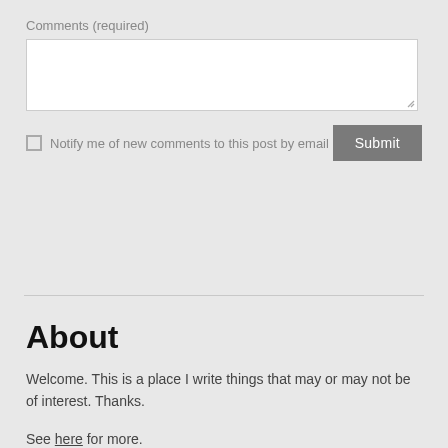Comments (required)
[Figure (other): Empty comment textarea input box with resize handle]
Notify me of new comments to this post by email
[Figure (other): Submit button (gray)]
About
Welcome. This is a place I write things that may or may not be of interest. Thanks.
See here for more.